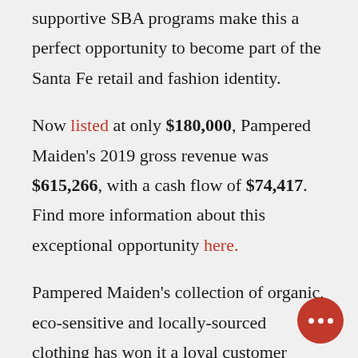supportive SBA programs make this a perfect opportunity to become part of the Santa Fe retail and fashion identity.
Now listed at only $180,000, Pampered Maiden's 2019 gross revenue was $615,266, with a cash flow of $74,417. Find more information about this exceptional opportunity here.
Pampered Maiden's collection of organic, eco-sensitive and locally-sourced clothing has won it a loyal customer base. The classic sensibility and emphasis on quality has attracted women of multiple